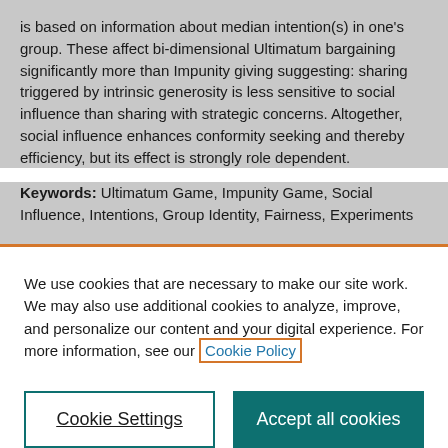is based on information about median intention(s) in one's group. These affect bi-dimensional Ultimatum bargaining significantly more than Impunity giving suggesting: sharing triggered by intrinsic generosity is less sensitive to social influence than sharing with strategic concerns. Altogether, social influence enhances conformity seeking and thereby efficiency, but its effect is strongly role dependent.
Keywords: Ultimatum Game, Impunity Game, Social Influence, Intentions, Group Identity, Fairness, Experiments
We use cookies that are necessary to make our site work. We may also use additional cookies to analyze, improve, and personalize our content and your digital experience. For more information, see our Cookie Policy
Cookie Settings
Accept all cookies